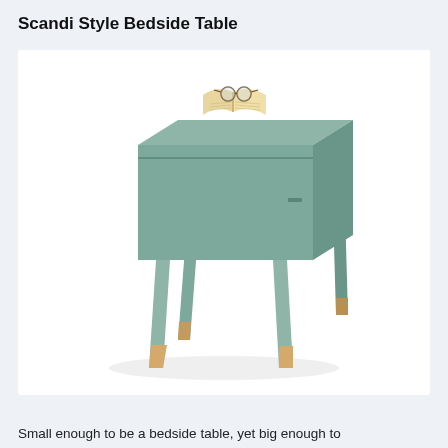Scandi Style Bedside Table
[Figure (photo): A sage green Scandinavian-style bedside table with one drawer, four tapered legs with natural wood dip-dyed tips, and an open book with glasses resting on top. The table is shown on a white background.]
Small enough to be a bedside table, yet big enough to